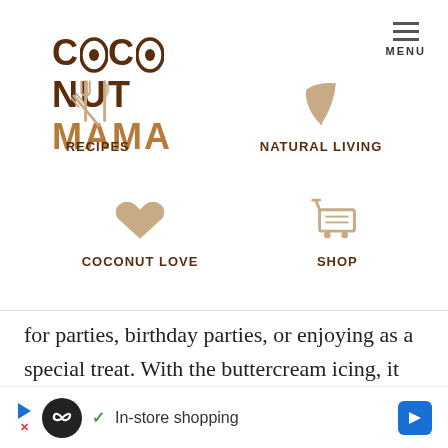[Figure (logo): Coconut Mama website logo in dark brown and tan text]
[Figure (infographic): Website navigation menu with four icons: Recipes (fork and knife), Natural Living (leaf), Coconut Love (heart), Shop (shopping cart), and a hamburger menu button with MENU label]
for parties, birthday parties, or enjoying as a special treat. With the buttercream icing, it reminds me of a wedding cake.
I created a 2 layer cake but you can use this recipe...
[Figure (screenshot): Advertisement bar at bottom showing in-store shopping ad with play button, infinity symbol icon, checkmark, text 'In-store shopping', and blue arrow button]